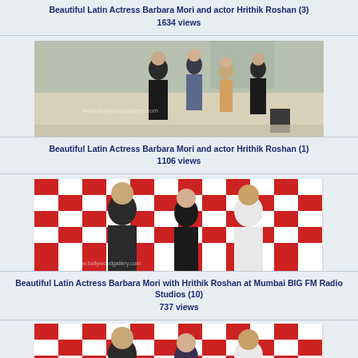Beautiful Latin Actress Barbara Mori and actor Hrithik Roshan (3)
1634 views
[Figure (photo): Photo of people walking at an airport or public space, including Barbara Mori and Hrithik Roshan]
Beautiful Latin Actress Barbara Mori and actor Hrithik Roshan (1)
1106 views
[Figure (photo): Photo of Barbara Mori with Hrithik Roshan at Mumbai BIG FM Radio Studios, red and white checkered backdrop]
Beautiful Latin Actress Barbara Mori with Hrithik Roshan at Mumbai BIG FM Radio Studios (10)
737 views
[Figure (photo): Photo of Barbara Mori with Hrithik Roshan at Mumbai BIG FM Radio Studios, similar to above]
Beautiful Latin Actress Barbara Mori with Hrithik Roshan at Mumbai BIG FM Radio Studios (similar)